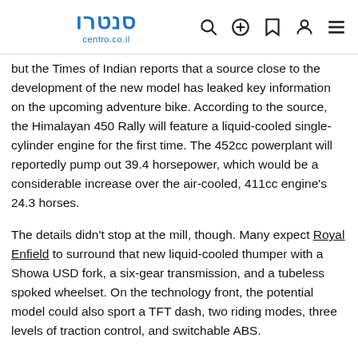סנטרו centro.co.il
but the Times of Indian reports that a source close to the development of the new model has leaked key information on the upcoming adventure bike. According to the source, the Himalayan 450 Rally will feature a liquid-cooled single-cylinder engine for the first time. The 452cc powerplant will reportedly pump out 39.4 horsepower, which would be a considerable increase over the air-cooled, 411cc engine's 24.3 horses.
The details didn't stop at the mill, though. Many expect Royal Enfield to surround that new liquid-cooled thumper with a Showa USD fork, a six-gear transmission, and a tubeless spoked wheelset. On the technology front, the potential model could also sport a TFT dash, two riding modes, three levels of traction control, and switchable ABS.
Of course, those sweeping upgrades would also result in a much higher MSRP than the base model's $5,299 price tag. While Indian media outlets have already spotted the test mule on the street, Royal Enfield hasn't officially recognized any of the details surrounding the Himalayan 450 Rally. Still, the prospect of a technologically-advanced Himalayan should excite many adventure riders and we'll add the 450